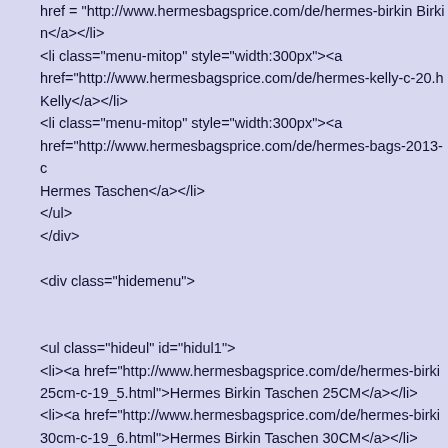href="http://www.hermesbagsprice.com/de/hermes-birkin..." Birkin</a></li>
<li class="menu-mitop" style="width:300px"><a href="http://www.hermesbagsprice.com/de/hermes-kelly-c-20.h... Kelly</a></li>
<li class="menu-mitop" style="width:300px"><a href="http://www.hermesbagsprice.com/de/hermes-bags-2013-c... Hermes Taschen</a></li>
</ul>
</div>

<div class="hidemenu">


<ul class="hideul" id="hidul1">
<li><a href="http://www.hermesbagsprice.com/de/hermes-birki... 25cm-c-19_5.html">Hermes Birkin Taschen 25CM</a></li>
<li><a href="http://www.hermesbagsprice.com/de/hermes-birki... 30cm-c-19_6.html">Hermes Birkin Taschen 30CM</a></li>
<li><a href="http://www.hermesbagsprice.com/de/hermes-birki... 35cm-c-19_7.html">Hermes Birkin Taschen 35CM</a></li>
<li><a href="http://www.hermesbagsprice.com/de/hermes-birki... 40cm-c-19_8.html">Hermes Birkin Taschen 40CM</a></li>
</ul>

<ul class="hideul" id="hidul2">